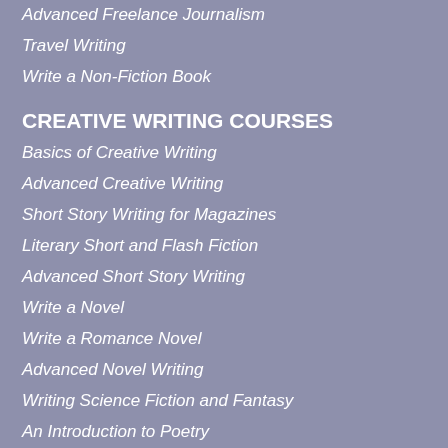Advanced Freelance Journalism
Travel Writing
Write a Non-Fiction Book
CREATIVE WRITING COURSES
Basics of Creative Writing
Advanced Creative Writing
Short Story Writing for Magazines
Literary Short and Flash Fiction
Advanced Short Story Writing
Write a Novel
Write a Romance Novel
Advanced Novel Writing
Writing Science Fiction and Fantasy
An Introduction to Poetry
Advanced Poetry
Scriptwriting